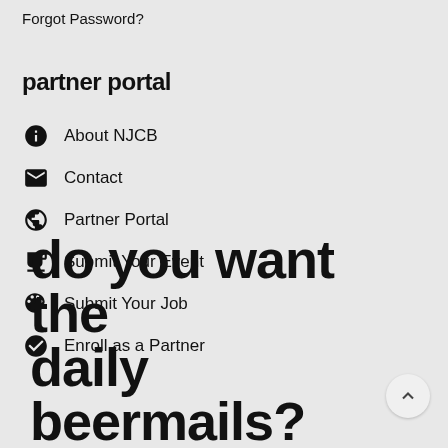Forgot Password?
partner portal
About NJCB
Contact
Partner Portal
Submit Your Event
Submit Your Job
Enroll as a Partner
do you want the daily beermails?